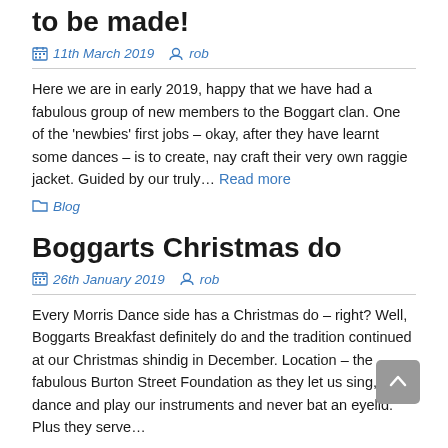New Year – New Raggie Jackets to be made!
11th March 2019   rob
Here we are in early 2019, happy that we have had a fabulous group of new members to the Boggart clan. One of the 'newbies' first jobs – okay, after they have learnt some dances – is to create, nay craft their very own raggie jacket. Guided by our truly… Read more
Blog
Boggarts Christmas do
26th January 2019   rob
Every Morris Dance side has a Christmas do – right? Well, Boggarts Breakfast definitely do and the tradition continued at our Christmas shindig in December. Location – the fabulous Burton Street Foundation as they let us sing, dance and play our instruments and never bat an eyelid. Plus they serve…